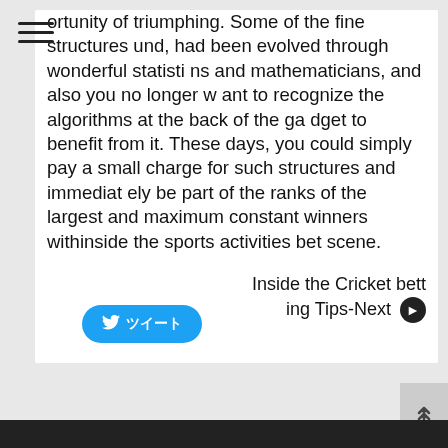ortunity of triumphing. Some of the fine structures und, had been evolved through wonderful statisti ns and mathematicians, and also you no longer w ant to recognize the algorithms at the back of the ga dget to benefit from it. These days, you could simply pay a small charge for such structures and immediat ely be part of the ranks of the largest and maximum constant winners withinside the sports activities bet scene.
[Figure (other): Twitter share button with bird icon and Japanese text]
Inside the Cricket betting Tips-Next ❯